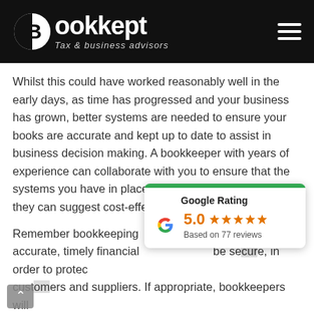[Figure (logo): Bookkept Tax & business advisors logo on black header with hamburger menu icon]
Whilst this could have worked reasonably well in the early days, as time has progressed and your business has grown, better systems are needed to ensure your books are accurate and kept up to date to assist in business decision making. A bookkeeper with years of experience can collaborate with you to ensure that the systems you have in place are fit for purpose! If not, they can suggest cost-effective alternatives.
[Figure (other): Google Rating popup showing 5.0 stars based on 77 reviews with Google G logo and green top bar]
Remember bookkeeping ... vide accurate, timely financial ... be secure, in order to protec... customers and suppliers. If appropriate, bookkeepers will